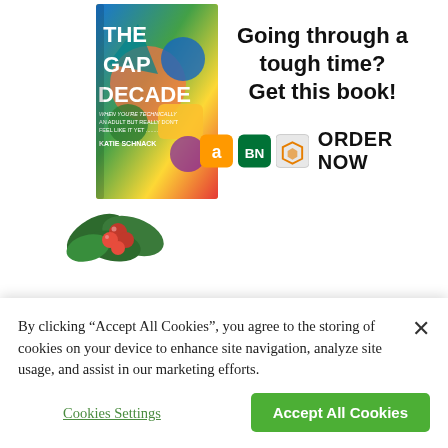[Figure (illustration): Book cover of 'The Gap Decade' by Katie Schnack with colorful abstract design, and a holly decoration below it. Ad text reads 'Going through a tough time? Get this book!' with Amazon, BN, and another retailer logos and 'ORDER NOW' text.]
POPULAR ARTICLES
By clicking “Accept All Cookies”, you agree to the storing of cookies on your device to enhance site navigation, analyze site usage, and assist in our marketing efforts.
Cookies Settings
Accept All Cookies